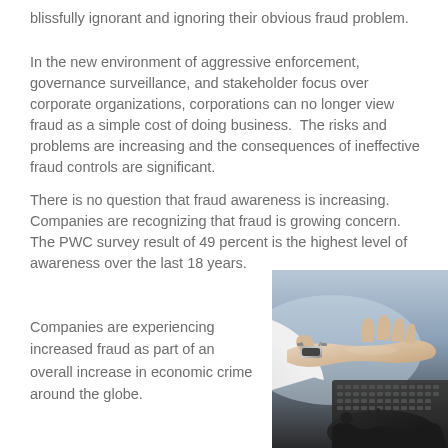blissfully ignorant and ignoring their obvious fraud problem.
In the new environment of aggressive enforcement, governance surveillance, and stakeholder focus over corporate organizations, corporations can no longer view fraud as a simple cost of doing business.  The risks and problems are increasing and the consequences of ineffective fraud controls are significant.
There is no question that fraud awareness is increasing. Companies are recognizing that fraud is growing concern.  The PWC survey result of 49 percent is the highest level of awareness over the last 18 years.
Companies are experiencing increased fraud as part of an overall increase in economic crime around the globe.
[Figure (photo): A person's hand wearing a watch typing on a laptop keyboard, with a black gloved hand beneath it, symbolizing fraud or cybercrime.]